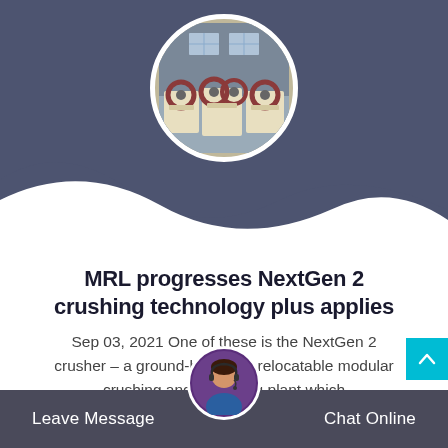[Figure (photo): Circular photo of industrial jaw crushers in a factory setting, showing yellow/cream colored crushing machines with large flywheels against a grey building background]
[Figure (illustration): Dark blue-grey wave/banner background shape filling the top portion of the card]
MRL progresses NextGen 2 crushing technology plus applies
Sep 03, 2021 One of these is the NextGen 2 crusher – a ground-breaking, relocatable modular crushing and screening plant which
[Figure (photo): Circular avatar photo of a female customer service representative wearing a headset, used as chat assistant icon]
Leave Message   Chat Online